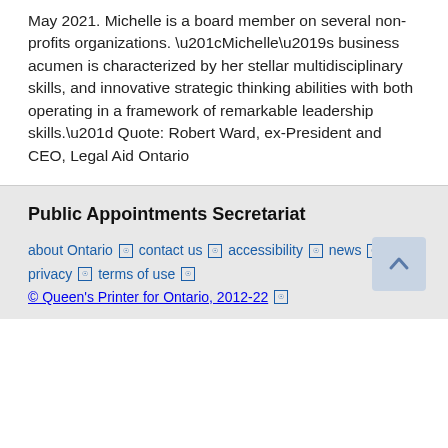May 2021. Michelle is a board member on several non-profits organizations. “Michelle’s business acumen is characterized by her stellar multidisciplinary skills, and innovative strategic thinking abilities with both operating in a framework of remarkable leadership skills.” Quote: Robert Ward, ex-President and CEO, Legal Aid Ontario
Public Appointments Secretariat
about Ontario | contact us | accessibility | news | privacy | terms of use
© Queen's Printer for Ontario, 2012-22